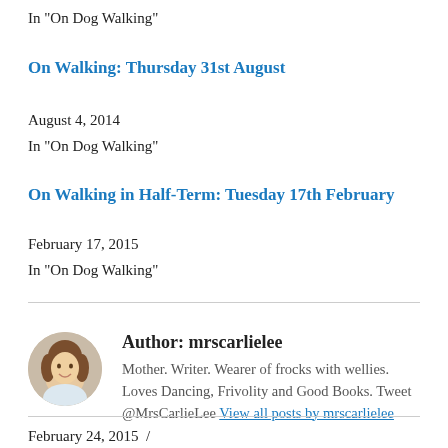In "On Dog Walking"
On Walking: Thursday 31st August
August 4, 2014
In "On Dog Walking"
On Walking in Half-Term: Tuesday 17th February
February 17, 2015
In "On Dog Walking"
Author: mrscarlielee
Mother. Writer. Wearer of frocks with wellies. Loves Dancing, Frivolity and Good Books. Tweet @MrsCarlieLee View all posts by mrscarlielee
February 24, 2015  /